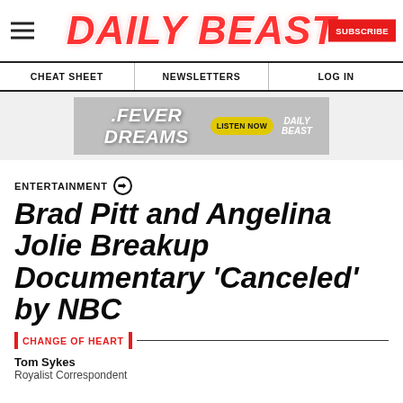DAILY BEAST
CHEAT SHEET | NEWSLETTERS | LOG IN
[Figure (screenshot): FEVER DREAMS advertisement banner with LISTEN NOW button and DAILY BEAST logo]
ENTERTAINMENT
Brad Pitt and Angelina Jolie Breakup Documentary 'Canceled' by NBC
CHANGE OF HEART
Tom Sykes
Royalist Correspondent